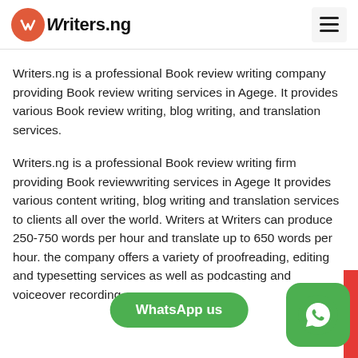Writers.ng
Writers.ng is a professional Book review writing company providing Book review writing services in Agege. It provides various Book review writing, blog writing, and translation services.
Writers.ng is a professional Book review writing firm providing Book reviewwriting services in Agege It provides various content writing, blog writing and translation services to clients all over the world. Writers at Writers can produce 250-750 words per hour and translate up to 650 words per hour. the company offers a variety of proofreading, editing and typesetting services as well as podcasting and voiceover recording.